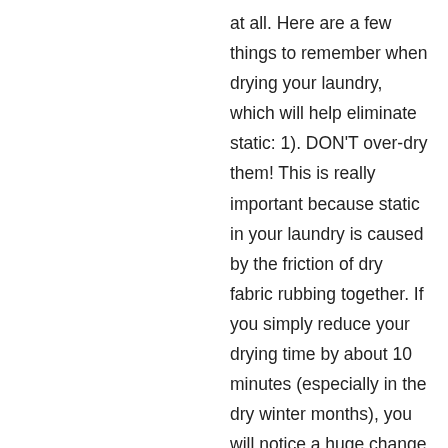at all. Here are a few things to remember when drying your laundry, which will help eliminate static: 1). DON'T over-dry them! This is really important because static in your laundry is caused by the friction of dry fabric rubbing together. If you simply reduce your drying time by about 10 minutes (especially in the dry winter months), you will notice a huge change in the static. 2). If you can, dry your cottons separate from your polyesters, or